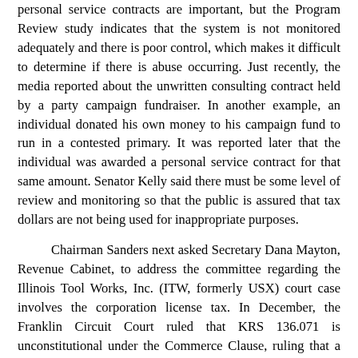personal service contracts are important, but the Program Review study indicates that the system is not monitored adequately and there is poor control, which makes it difficult to determine if there is abuse occurring. Just recently, the media reported about the unwritten consulting contract held by a party campaign fundraiser. In another example, an individual donated his own money to his campaign fund to run in a contested primary. It was reported later that the individual was awarded a personal service contract for that same amount. Senator Kelly said there must be some level of review and monitoring so that the public is assured that tax dollars are not being used for inappropriate purposes.
Chairman Sanders next asked Secretary Dana Mayton, Revenue Cabinet, to address the committee regarding the Illinois Tool Works, Inc. (ITW, formerly USX) court case involves the corporation license tax. In December, the Franklin Circuit Court ruled that KRS 136.071 is unconstitutional under the Commerce Clause, ruling that a Kentucky domiciled corporation that held stock, or securities in other corporations equal to, or greater than 50 percent of its own assets, could deduct those investments from the